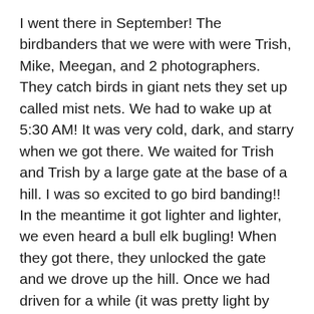I went there in September! The birdbanders that we were with were Trish, Mike, Meegan, and 2 photographers. They catch birds in giant nets they set up called mist nets. We had to wake up at 5:30 AM! It was very cold, dark, and starry when we got there. We waited for Trish and Trish by a large gate at the base of a hill. I was so excited to go bird banding!! In the meantime it got lighter and lighter, we even heard a bull elk bugling! When they got there, they unlocked the gate and we drove up the hill. Once we had driven for a while (it was pretty light by now!) we pulled over in a parking lot and unpacked. After that we walked down a steep hill, then we walked through some bushes, set up some nets along the way and went to a clearing. I sat on a log nearby and watched the banders setup. In the end there were 2 small blue tables, a bird book, banding supplies,